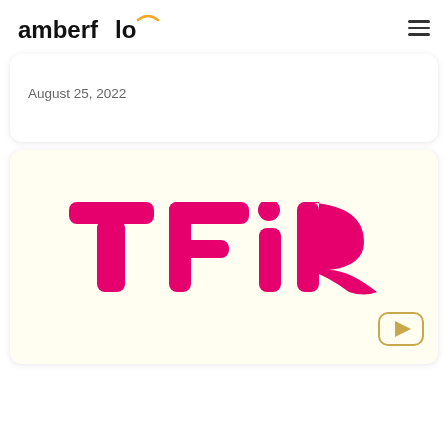amberflo
August 25, 2022
[Figure (logo): TFiR logo in bold magenta/pink letters on a cream/off-white background card, with a YouTube play button icon in the bottom right corner]